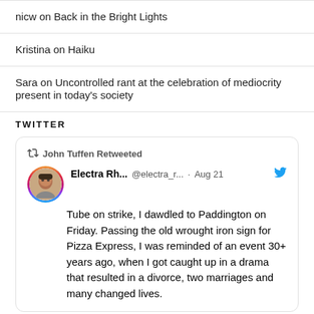nicw on Back in the Bright Lights
Kristina on Haiku
Sara on Uncontrolled rant at the celebration of mediocrity present in today's society
TWITTER
[Figure (screenshot): A retweeted tweet by Electra Rh... (@electra_r...) from Aug 21, retweeted by John Tuffen. Text: Tube on strike, I dawdled to Paddington on Friday. Passing the old wrought iron sign for Pizza Express, I was reminded of an event 30+ years ago, when I got caught up in a drama that resulted in a divorce, two marriages and many changed lives.]